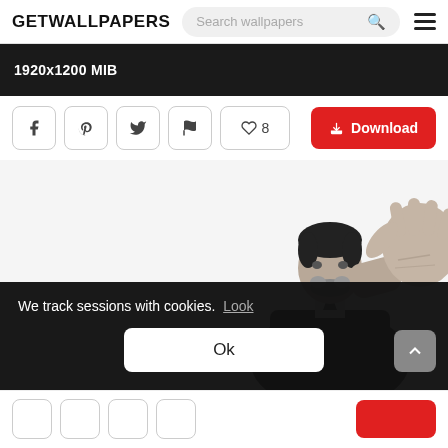GETWALLPAPERS  Search wallpapers
[Figure (screenshot): Dark background image strip showing '1920x1200 MIB' text label]
1920x1200 MIB
[Figure (infographic): Action bar with social share buttons (Facebook, Pinterest, Twitter, Flag), like button showing 8, and red Download button]
[Figure (photo): Black and white photo of a man (Keanu Reeves) in a suit holding his hand up toward the camera against white background]
We track sessions with cookies.  Look
Ok